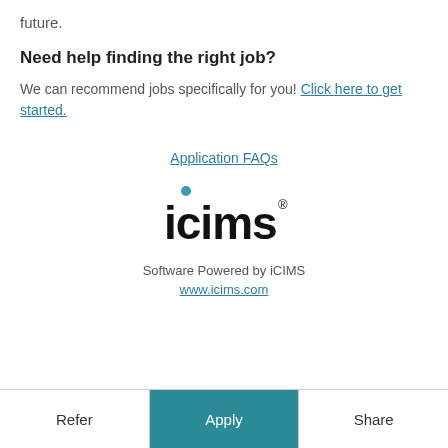future.
Need help finding the right job?
We can recommend jobs specifically for you! Click here to get started.
Application FAQs
[Figure (logo): iCIMS logo with teal dot above the letter i and bold black lowercase text 'icims' with registered trademark symbol]
Software Powered by iCIMS
www.icims.com
Refer | Apply | Share